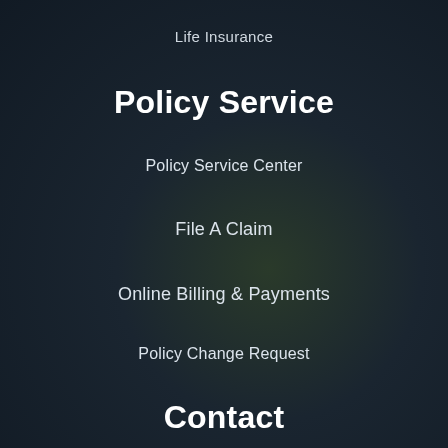Life Insurance
Policy Service
Policy Service Center
File A Claim
Online Billing & Payments
Policy Change Request
Contact